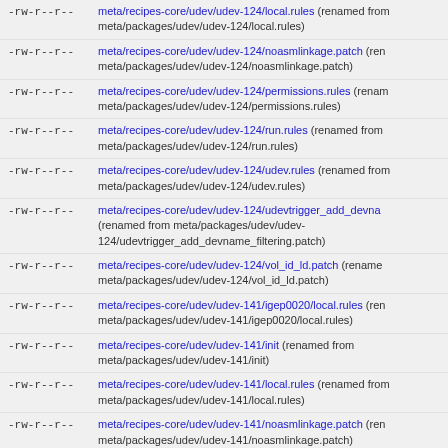-rw-r--r-- meta/recipes-core/udev/udev-124/local.rules (renamed from meta/packages/udev/udev-124/local.rules)
-rw-r--r-- meta/recipes-core/udev/udev-124/noasmlinkage.patch (renamed from meta/packages/udev/udev-124/noasmlinkage.patch)
-rw-r--r-- meta/recipes-core/udev/udev-124/permissions.rules (renamed from meta/packages/udev/udev-124/permissions.rules)
-rw-r--r-- meta/recipes-core/udev/udev-124/run.rules (renamed from meta/packages/udev/udev-124/run.rules)
-rw-r--r-- meta/recipes-core/udev/udev-124/udev.rules (renamed from meta/packages/udev/udev-124/udev.rules)
-rw-r--r-- meta/recipes-core/udev/udev-124/udevtrigger_add_devname_filtering.patch (renamed from meta/packages/udev/udev-124/udevtrigger_add_devname_filtering.patch)
-rw-r--r-- meta/recipes-core/udev/udev-124/vol_id_ld.patch (renamed from meta/packages/udev/udev-124/vol_id_ld.patch)
-rw-r--r-- meta/recipes-core/udev/udev-141/igep0020/local.rules (renamed from meta/packages/udev/udev-141/igep0020/local.rules)
-rw-r--r-- meta/recipes-core/udev/udev-141/init (renamed from meta/packages/udev/udev-141/init)
-rw-r--r-- meta/recipes-core/udev/udev-141/local.rules (renamed from meta/packages/udev/udev-141/local.rules)
-rw-r--r-- meta/recipes-core/udev/udev-141/noasmlinkage.patch (renamed from meta/packages/udev/udev-141/noasmlinkage.patch)
-rw-r--r-- meta/recipes-core/udev/udev-141/permissions.rules (renamed from meta/packages/udev/udev-141/permissions.rules)
-rw-r--r-- meta/recipes-core/udev/udev-141/run.rules (renamed from meta/packages/udev/udev-141/run.rules)